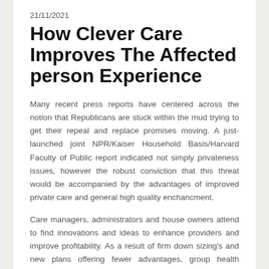21/11/2021
How Clever Care Improves The Affected person Experience
Many recent press reports have centered across the notion that Republicans are stuck within the mud trying to get their repeal and replace promises moving. A just-launched joint NPR/Kaiser Household Basis/Harvard Faculty of Public report indicated not simply privateness issues, however the robust conviction that this threat would be accompanied by the advantages of improved private care and general high quality enchancment.
Care managers, administrators and house owners attend to find innovations and ideas to enhance providers and improve profitability. As a result of firm down sizing's and new plans offering fewer advantages, group health insurance is not what it used to be. There are a whole bunch of firm's on the internet which might be desperately in search of your small business.